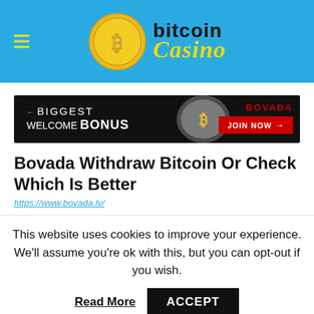[Figure (logo): Bitcoin Casino logo with coin icon, blue header background and hamburger menu icon]
[Figure (infographic): Bovada casino advertisement banner: BIGGEST WELCOME BONUS text with bitcoin coin image and JOIN NOW red button]
Bovada Withdraw Bitcoin Or Check Which Is Better
https://www.bovada.lv/
This website uses cookies to improve your experience. We'll assume you're ok with this, but you can opt-out if you wish.
Read More   ACCEPT